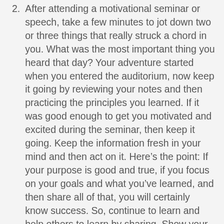2. After attending a motivational seminar or speech, take a few minutes to jot down two or three things that really struck a chord in you. What was the most important thing you heard that day? Your adventure started when you entered the auditorium, now keep it going by reviewing your notes and then practicing the principles you learned. If it was good enough to get you motivated and excited during the seminar, then keep it going. Keep the information fresh in your mind and then act on it. Here’s the point: If your purpose is good and true, if you focus on your goals and what you’ve learned, and then share all of that, you will certainly know success. So, continue to learn and help others to learn by sharing. Show your